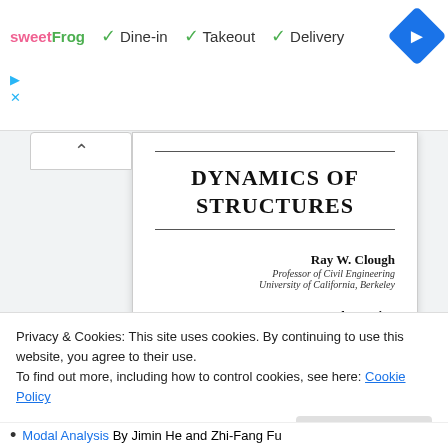[Figure (screenshot): Ad bar with sweetFrog logo and Dine-in, Takeout, Delivery checkmarks and navigation diamond icon]
[Figure (screenshot): Book cover preview of 'Dynamics of Structures' by Ray W. Clough and Joseph Penzien]
DYNAMICS OF STRUCTURES
Ray W. Clough
Professor of Civil Engineering
University of California, Berkeley
Joseph Penzien
International Civil Engineering
Privacy & Cookies: This site uses cookies. By continuing to use this website, you agree to their use.
To find out more, including how to control cookies, see here: Cookie Policy
Modal Analysis By Jimin He and Zhi-Fang Fu